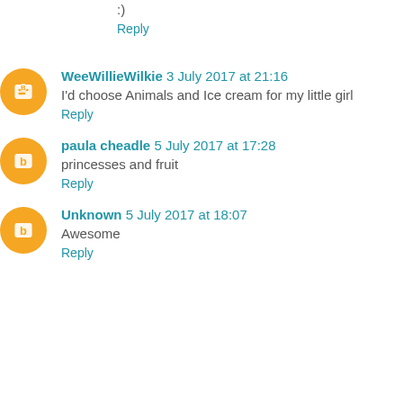:)
Reply
WeeWillieWilkie 3 July 2017 at 21:16
I'd choose Animals and Ice cream for my little girl
Reply
paula cheadle 5 July 2017 at 17:28
princesses and fruit
Reply
Unknown 5 July 2017 at 18:07
Awesome
Reply